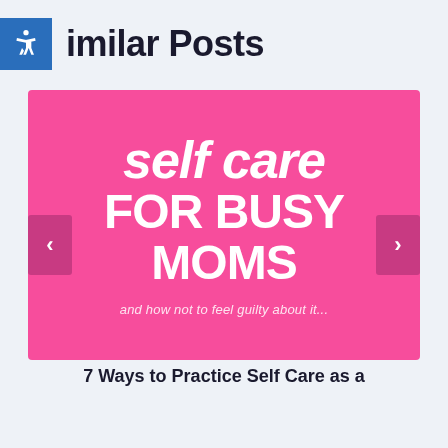Similar Posts
[Figure (illustration): Pink background image with bold white text reading 'self care FOR BUSY MOMS and how not to feel guilty about it...' with left and right navigation arrows]
7 Ways to Practice Self Care as a